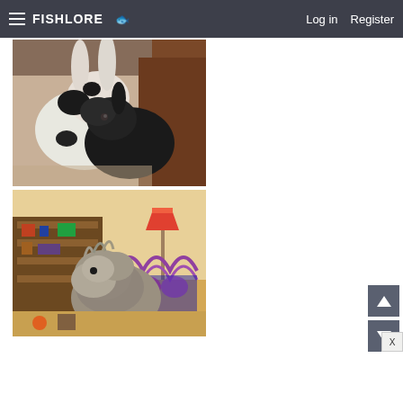≡  FISHLORE 🐟    Log in    Register
[Figure (photo): A white and black spotted rabbit sitting next to a dark fluffy black rabbit on a carpeted floor near furniture]
[Figure (photo): A fluffy gray animal (possibly a chinchilla or rabbit) sitting on furniture in a room with shelves, a lamp, and decorative headboard]